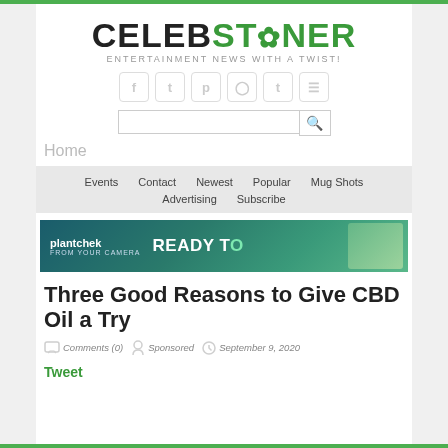CELEBSTONER - ENTERTAINMENT NEWS WITH A TWIST!
[Figure (logo): CelebStoner logo with cannabis leaf icon, tagline: ENTERTAINMENT NEWS WITH A TWIST!]
[Figure (screenshot): Social media icons: Facebook, Twitter, Pinterest, Instagram, Tumblr, RSS]
[Figure (screenshot): Search input bar with magnifying glass icon]
Home
Events   Contact   Newest   Popular   Mug Shots   Advertising   Subscribe
[Figure (photo): plantchek advertisement banner: READY TO with green product image]
Three Good Reasons to Give CBD Oil a Try
Comments (0)   Sponsored   September 9, 2020
Tweet